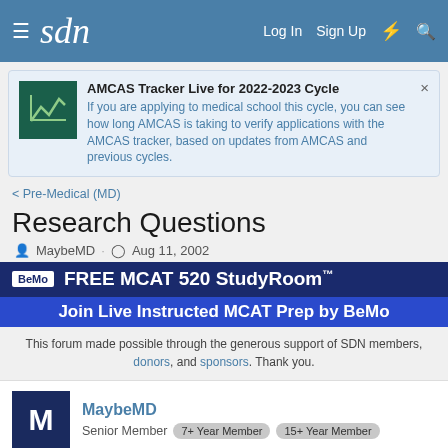sdn — Log In  Sign Up
AMCAS Tracker Live for 2022-2023 Cycle
If you are applying to medical school this cycle, you can see how long AMCAS is taking to verify applications with the AMCAS tracker, based on updates from AMCAS and previous cycles.
< Pre-Medical (MD)
Research Questions
MaybeMD · Aug 11, 2002
[Figure (infographic): BeMo ad banner: FREE MCAT 520 StudyRoom™ — Join Live Instructed MCAT Prep by BeMo]
This forum made possible through the generous support of SDN members, donors, and sponsors. Thank you.
MaybeMD
Senior Member  7+ Year Member  15+ Year Member